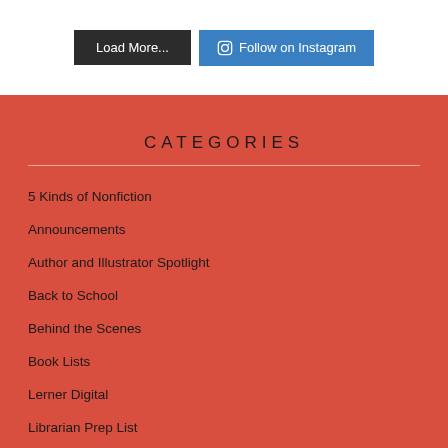[Figure (screenshot): Two buttons: a dark 'Load More...' button and a blue 'Follow on Instagram' button with an Instagram icon]
CATEGORIES
5 Kinds of Nonfiction
Announcements
Author and Illustrator Spotlight
Back to School
Behind the Scenes
Book Lists
Lerner Digital
Librarian Prep List